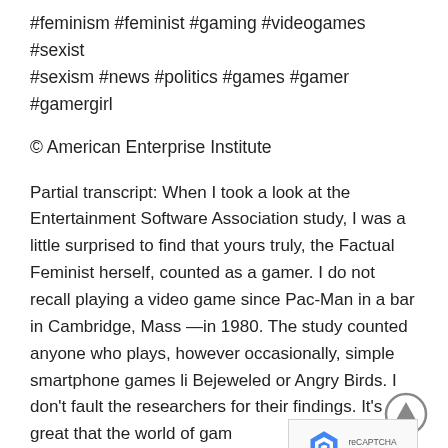#feminism #feminist #gaming #videogames #sexist #sexism #news #politics #games #gamer #gamergirl
© American Enterprise Institute
Partial transcript: When I took a look at the Entertainment Software Association study, I was a little surprised to find that yours truly, the Factual Feminist herself, counted as a gamer. I do not recall playing a video game since Pac-Man in a bar in Cambridge, Mass—in 1980. The study counted anyone who plays, however occasionally, simple smartphone games like Bejeweled or Angry Birds. I don't fault the researchers for their findings. It's great that the world of gam… expanding and there are more women creating a…